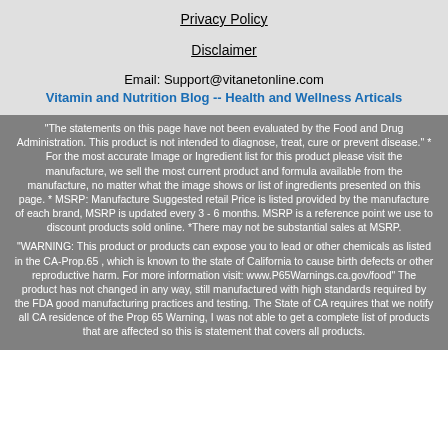Privacy Policy
Disclaimer
Email: Support@vitanetonline.com
Vitamin and Nutrition Blog -- Health and Wellness Articals
"The statements on this page have not been evaluated by the Food and Drug Administration. This product is not intended to diagnose, treat, cure or prevent disease." * For the most accurate Image or Ingredient list for this product please visit the manufacture, we sell the most current product and formula available from the manufacture, no matter what the image shows or list of ingredients presented on this page. * MSRP: Manufacture Suggested retail Price is listed provided by the manufacture of each brand, MSRP is updated every 3 - 6 months. MSRP is a reference point we use to discount products sold online. *There may not be substantial sales at MSRP.
"WARNING: This product or products can expose you to lead or other chemicals as listed in the CA-Prop.65 , which is known to the state of California to cause birth defects or other reproductive harm. For more information visit: www.P65Warnings.ca.gov/food" The product has not changed in any way, still manufactured with high standards required by the FDA good manufacturing practices and testing. The State of CA requires that we notify all CA residence of the Prop 65 Warning, I was not able to get a complete list of products that are affected so this is statement that covers all products.